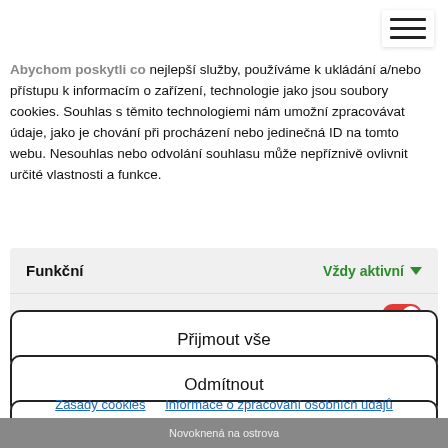[Figure (other): Hamburger menu icon (three horizontal lines) in upper right corner]
Abychom poskytli co nejlepší služby, používáme k ukládání a/nebo přístupu k informacím o zařízení, technologie jako jsou soubory cookies. Souhlas s těmito technologiemi nám umožní zpracovávat údaje, jako je chování při procházení nebo jedinečná ID na tomto webu. Nesouhlas nebo odvolání souhlasu může nepříznivě ovlivnit určité vlastnosti a funkce.
Funkční   Vždy aktivní
Statistiky
Přijmout vše
Odmítnout
Uložit předvolby
Zásady cookies   Informace o zpracování osobních údajů